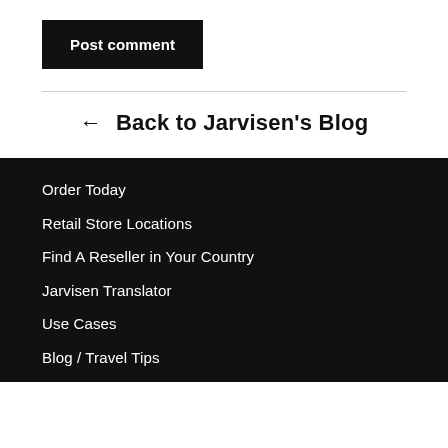Post comment
← Back to Jarvisen's Blog
Order Today
Retail Store Locations
Find A Reseller in Your Country
Jarvisen Translator
Use Cases
Blog / Travel Tips